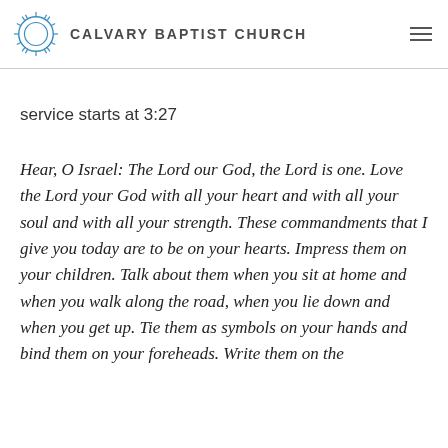CALVARY BAPTIST CHURCH
service starts at 3:27
Hear, O Israel: The Lord our God, the Lord is one. Love the Lord your God with all your heart and with all your soul and with all your strength. These commandments that I give you today are to be on your hearts. Impress them on your children. Talk about them when you sit at home and when you walk along the road, when you lie down and when you get up. Tie them as symbols on your hands and bind them on your foreheads. Write them on the